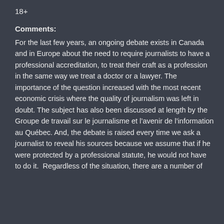18+
Comments:
For the last few years, an ongoing debate exists in Canada and in Europe about the need to require journalists to have a professional accreditation, to treat their craft as a profession in the same way we treat a doctor or a lawyer. The importance of the question increased with the most recent economic crisis where the quality of journalism was left in doubt. The subject has also been discussed at length by the Groupe de travail sur le journalisme et l’avenir de l’information au Québec. And, the debate is raised every time we ask a journalist to reveal his sources because we assume that if he were protected by a professional statute, he would not have to do it.  Regardless of the situation, there are a number of